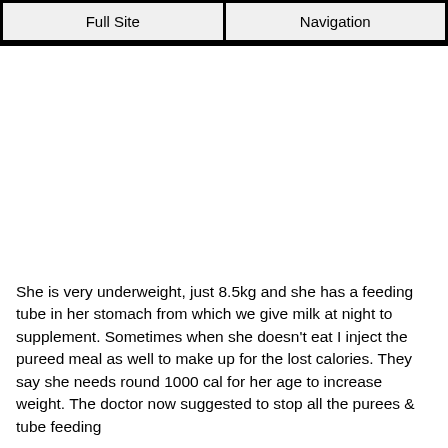Full Site | Navigation
She is very underweight, just 8.5kg and she has a feeding tube in her stomach from which we give milk at night to supplement. Sometimes when she doesn't eat I inject the pureed meal as well to make up for the lost calories. They say she needs round 1000 cal for her age to increase weight. The doctor now suggested to stop all the purees & tube feeding